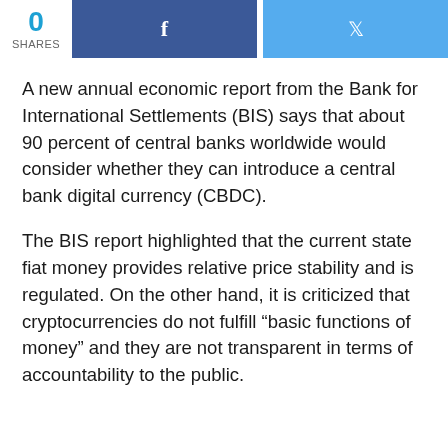0 SHARES
A new annual economic report from the Bank for International Settlements (BIS) says that about 90 percent of central banks worldwide would consider whether they can introduce a central bank digital currency (CBDC).
The BIS report highlighted that the current state fiat money provides relative price stability and is regulated. On the other hand, it is criticized that cryptocurrencies do not fulfill “basic functions of money” and they are not transparent in terms of accountability to the public.